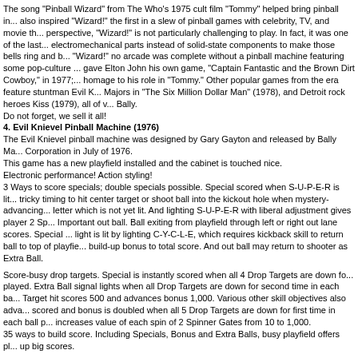The song "Pinball Wizard" from The Who's 1975 cult film "Tommy" helped bring pinball in... also inspired "Wizard!" the first in a slew of pinball games with celebrity, TV, and movie th... perspective, "Wizard!" is not particularly challenging to play. In fact, it was one of the last... electromechanical parts instead of solid-state components to make those bells ring and b... "Wizard!" no arcade was complete without a pinball machine featuring some pop-culture ... gave Elton John his own game, "Captain Fantastic and the Brown Dirt Cowboy," in 1977;... homage to his role in "Tommy." Other popular games from the era feature stuntman Evil K... Majors in "The Six Million Dollar Man" (1978), and Detroit rock heroes Kiss (1979), all of v... Bally.
Do not forget, we sell it all!
4. Evil Knievel Pinball Machine (1976)
The Evil Knievel pinball machine was designed by Gary Gayton and released by Bally Ma... Corporation in July of 1976.
This game has a new playfield installed and the cabinet is touched nice.
Electronic performance! Action styling!
3 Ways to score specials; double specials possible. Special scored when S-U-P-E-R is lit... tricky timing to hit center target or shoot ball into the kickout hole when mystery-advancing... letter which is not yet lit. And lighting S-U-P-E-R with liberal adjustment gives player 2 Sp... Important out ball. Ball exiting from playfield through left or right out lane scores. Special ... light is lit by lighting C-Y-C-L-E, which requires kickback skill to return ball to top of playfie... build-up bonus to total score. And out ball may return to shooter as Extra Ball.
Score-busy drop targets. Special is instantly scored when all 4 Drop Targets are down fo... played. Extra Ball signal lights when all Drop Targets are down for second time in each ba... Target hit scores 500 and advances bonus 1,000. Various other skill objectives also adva... scored and bonus is doubled when all 5 Drop Targets are down for first time in each ball p... increases value of each spin of 2 Spinner Gates from 10 to 1,000.
35 ways to build score. Including Specials, Bonus and Extra Balls, busy playfield offers pl... up big scores.
5. FLASH (WILLIAMS, 1979)
"Flash" arrived with a thunderclap at arcades, dazzling players with its novel namesake "f... dynamic sound effects that would intensify with play, a technological first for pinball. "The... ball in play, the background sound would rise. Everyone in the arcade would know when s... says Chris Kuntz, aka the Pinball Pirate, a former arcade owner and lifelong pinball enthu... sells, and repairs machines in the Bay Area. "It was a big deal at the time." About 19,000... placing it behind only "Eight Ball" and "Addams Family" in terms of the most popular class... Collectors prize "Flash" for another reason: it was the first by Williams' legendary game...